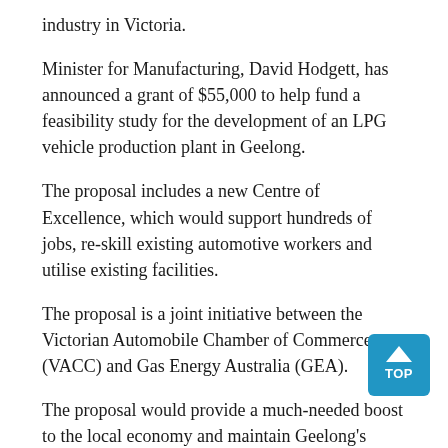industry in Victoria.
Minister for Manufacturing, David Hodgett, has announced a grant of $55,000 to help fund a feasibility study for the development of an LPG vehicle production plant in Geelong.
The proposal includes a new Centre of Excellence, which would support hundreds of jobs, re-skill existing automotive workers and utilise existing facilities.
The proposal is a joint initiative between the Victorian Automobile Chamber of Commerce (VACC) and Gas Energy Australia (GEA).
The proposal would provide a much-needed boost to the local economy and maintain Geelong's long-standing association with the automotive industry.
Shadow VIC Treasurer, Tim Pallas has also promised to commit funds to the study. This guarantees the next phase of the LPG vehicle manufacturing proposal will go ahead despite the outcome of Saturday's state election.